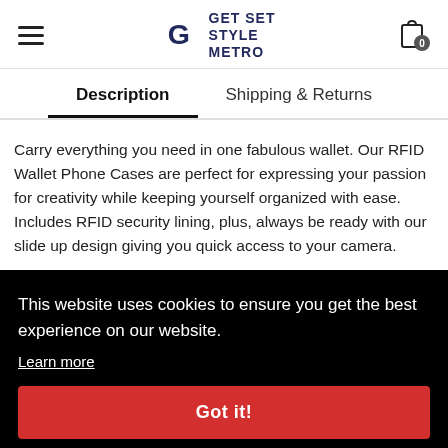GET SET STYLE METRO
Description | Shipping & Returns
Carry everything you need in one fabulous wallet. Our RFID Wallet Phone Cases are perfect for expressing your passion for creativity while keeping yourself organized with ease. Includes RFID security lining, plus, always be ready with our slide up design giving you quick access to your camera.
(bullet item 1)
(bullet item 2)
(bullet item 3)
This website uses cookies to ensure you get the best experience on our website. Learn more Got it!